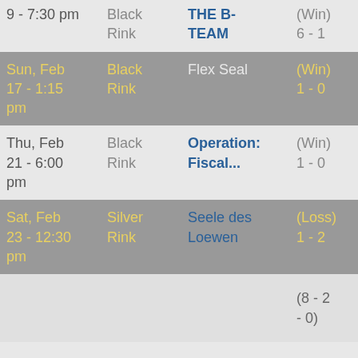| Date | Rink | Opponent | Result | 0 |  |
| --- | --- | --- | --- | --- | --- |
| 9 - 7:30 pm | Black Rink | THE B-TEAM | (Win) 6 - 1 | 0 |  |
| Sun, Feb 17 - 1:15 pm | Black Rink | Flex Seal | (Win) 1 - 0 | 0 |  |
| Thu, Feb 21 - 6:00 pm | Black Rink | Operation: Fiscal... | (Win) 1 - 0 | 0 |  |
| Sat, Feb 23 - 12:30 pm | Silver Rink | Seele des Loewen | (Loss) 1 - 2 | 0 |  |
|  |  |  | (8 - 2 - 0) | 0 |  |